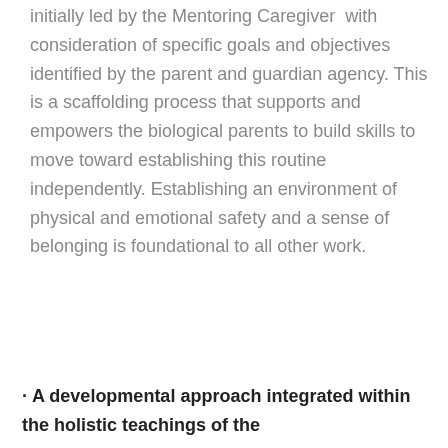initially led by the Mentoring Caregiver  with consideration of specific goals and objectives identified by the parent and guardian agency. This is a scaffolding process that supports and empowers the biological parents to build skills to move toward establishing this routine independently. Establishing an environment of physical and emotional safety and a sense of belonging is foundational to all other work.
· A developmental approach integrated within the holistic teachings of the